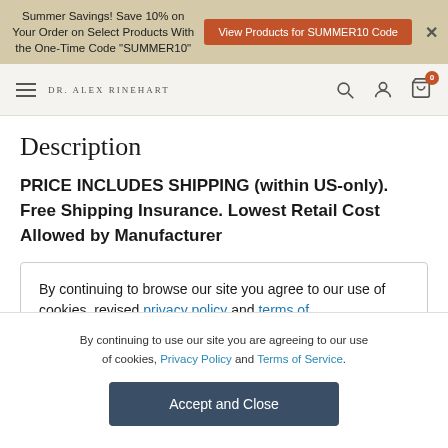Summer Savings! Save 10% on Your Order on Select Products With the One-Time Code "SUMMER10" | View Products for SUMMER10 Code
DR. ALEX RINEHART | 0 items in cart
Description
PRICE INCLUDES SHIPPING (within US-only). Free Shipping Insurance. Lowest Retail Cost Allowed by Manufacturer
By continuing to browse our site you agree to our use of cookies, revised privacy policy and terms of
By continuing to use our site you are agreeing to our use of cookies, Privacy Policy and Terms of Service.
Accept and Close